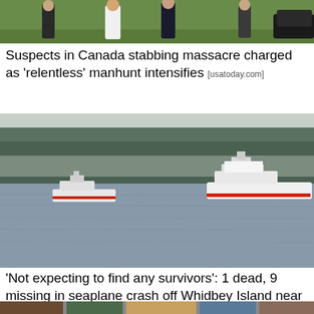[Figure (photo): Top portion of a photo showing people walking, partially cropped at top of page]
Suspects in Canada stabbing massacre charged as 'relentless' manhunt intensifies [usatoday.com]
[Figure (photo): Coast Guard boats on a body of water with forested hills in the background near Whidbey Island]
'Not expecting to find any survivors': 1 dead, 9 missing in seaplane crash off Whidbey Island near Seattle [usatoday.com]
[Figure (photo): Bottom portion of a third news story photo, partially cropped]